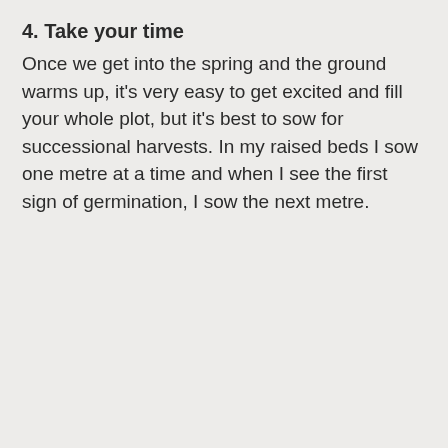4. Take your time
Once we get into the spring and the ground warms up, it's very easy to get excited and fill your whole plot, but it's best to sow for successional harvests. In my raised beds I sow one metre at a time and when I see the first sign of germination, I sow the next metre.